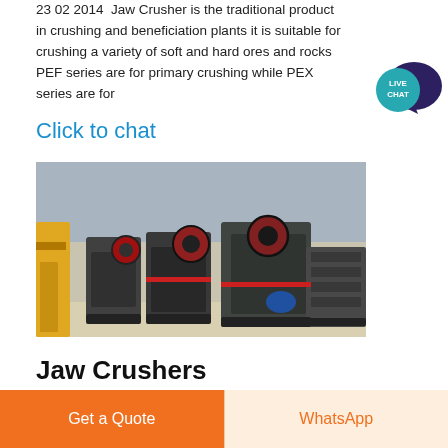23 02 2014  Jaw Crusher is the traditional product in crushing and beneficiation plants it is suitable for crushing a variety of soft and hard ores and rocks PEF series are for primary crushing while PEX series are for
[Figure (illustration): Live Chat speech bubble icon with teal/dark blue colors and text 'LIVE CHAT']
Click to chat
[Figure (photo): Factory floor showing multiple large jaw crusher machines lined up in an industrial facility with yellow equipment on the left side]
Jaw Crushers
Get a Quote
WhatsApp